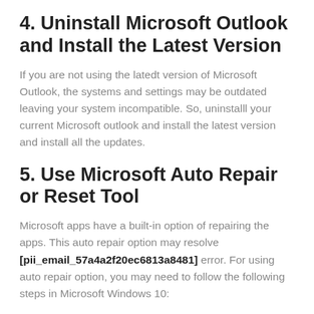4. Uninstall Microsoft Outlook and Install the Latest Version
If you are not using the latedt version of Microsoft Outlook, the systems and settings may be outdated leaving your system incompatible. So, uninstalll your current Microsoft outlook and install the latest version and install all the updates.
5. Use Microsoft Auto Repair or Reset Tool
Microsoft apps have a built-in option of repairing the apps. This auto repair option may resolve [pii_email_57a4a2f20ec6813a8481] error. For using auto repair option, you may need to follow the following steps in Microsoft Windows 10: